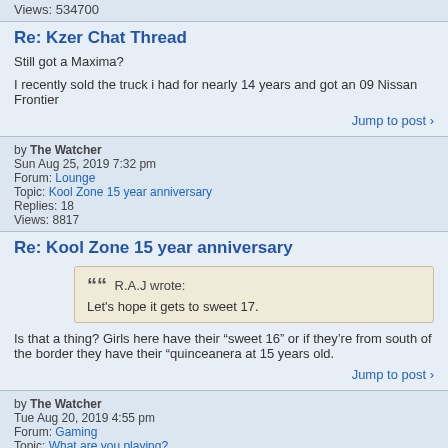Views: 534700
Re: Kzer Chat Thread
Still got a Maxima?

I recently sold the truck i had for nearly 14 years and got an 09 Nissan Frontier
Jump to post >
by The Watcher
Sun Aug 25, 2019 7:32 pm
Forum: Lounge
Topic: Kool Zone 15 year anniversary
Replies: 18
Views: 8817
Re: Kool Zone 15 year anniversary
R.A.J wrote:
Let's hope it gets to sweet 17.
Is that a thing? Girls here have their “sweet 16” or if they’re from south of the border they have their “quinceanera at 15 years old.
Jump to post >
by The Watcher
Tue Aug 20, 2019 4:55 pm
Forum: Gaming
Topic: What are you playing?
Replies: 1017